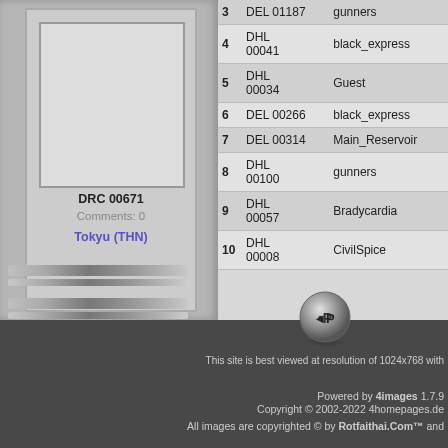[Figure (screenshot): Card thumbnail area showing image box placeholder]
DRC 00671
Comments: 0
Tokyu (THN)
| # | Code | User |
| --- | --- | --- |
| 3 | DEL 01187 | gunners |
| 4 | DHL 00041 | black_express |
| 5 | DHL 00034 | Guest |
| 6 | DEL 00266 | black_express |
| 7 | DEL 00314 | Main_Reservoir |
| 8 | DHL 00100 | gunners |
| 9 | DHL 00057 | Bradycardia |
| 10 | DHL 00008 | CivilSpice |
[Figure (logo): Circular metallic logo button with CP symbol]
This site is best viewed at resolution of 1024x768 with
Powered by 4images 1.7.9
Copyright © 2002-2022 4homepages.de
All images are copyrighted © by Rotfaithai.Com™ and